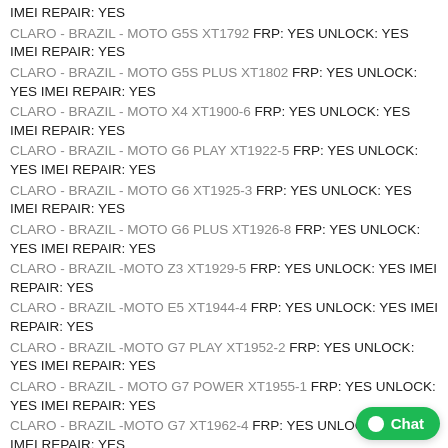IMEI REPAIR: YES
CLARO - BRAZIL - MOTO G5S XT1792 FRP: YES UNLOCK: YES IMEI REPAIR: YES
CLARO - BRAZIL - MOTO G5S PLUS XT1802 FRP: YES UNLOCK: YES IMEI REPAIR: YES
CLARO - BRAZIL - MOTO X4 XT1900-6 FRP: YES UNLOCK: YES IMEI REPAIR: YES
CLARO - BRAZIL - MOTO G6 PLAY XT1922-5 FRP: YES UNLOCK: YES IMEI REPAIR: YES
CLARO - BRAZIL - MOTO G6 XT1925-3 FRP: YES UNLOCK: YES IMEI REPAIR: YES
CLARO - BRAZIL - MOTO G6 PLUS XT1926-8 FRP: YES UNLOCK: YES IMEI REPAIR: YES
CLARO - BRAZIL -MOTO Z3 XT1929-5 FRP: YES UNLOCK: YES IMEI REPAIR: YES
CLARO - BRAZIL -MOTO E5 XT1944-4 FRP: YES UNLOCK: YES IMEI REPAIR: YES
CLARO - BRAZIL -MOTO G7 PLAY XT1952-2 FRP: YES UNLOCK: YES IMEI REPAIR: YES
CLARO - BRAZIL - MOTO G7 POWER XT1955-1 FRP: YES UNLOCK: YES IMEI REPAIR: YES
CLARO - BRAZIL -MOTO G7 XT1962-4 FRP: YES UNLOCK: YES IMEI REPAIR: YES
CLARO - BRAZIL -MOTO G7 PLUS XT1965-2 FRP: YES UNLOCK: YES IMEI REPAIR: YES
CLARO - BRAZIL - Motorola ONE VISION XT1970-1 FRP: YES UNLOCK: YES IMEI REPAIR: YES